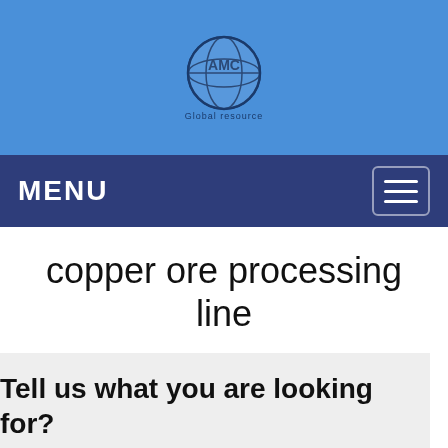[Figure (logo): AMC Global company logo — globe icon with AMC text on blue background]
MENU
copper ore processing line
Tell us what you are looking for?
Please fill in and submit the following form, our service team will contact you as soon as possible and provide a complete solution.